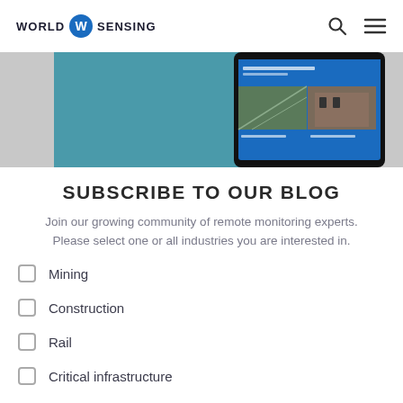WORLD SENSING
[Figure (screenshot): Screenshot of World Sensing website interface showing monitoring dashboard with bridge and building images on blue/teal background]
SUBSCRIBE TO OUR BLOG
Join our growing community of remote monitoring experts. Please select one or all industries you are interested in.
Mining
Construction
Rail
Critical infrastructure